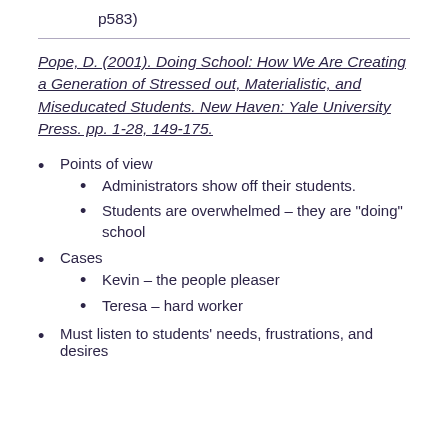p583)
Pope, D. (2001). Doing School: How We Are Creating a Generation of Stressed out, Materialistic, and Miseducated Students. New Haven: Yale University Press. pp. 1-28, 149-175.
Points of view
Administrators show off their students.
Students are overwhelmed – they are "doing" school
Cases
Kevin – the people pleaser
Teresa – hard worker
Must listen to students' needs, frustrations, and desires